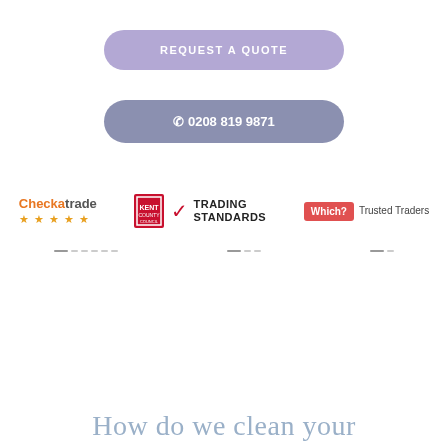REQUEST A QUOTE
☏ 0208 819 9871
[Figure (logo): Checkatrade logo with orange and grey text and star rating below]
[Figure (logo): Kent Trading Standards logo with icon and text]
[Figure (logo): Which? Trusted Traders logo with red badge]
How do we clean your